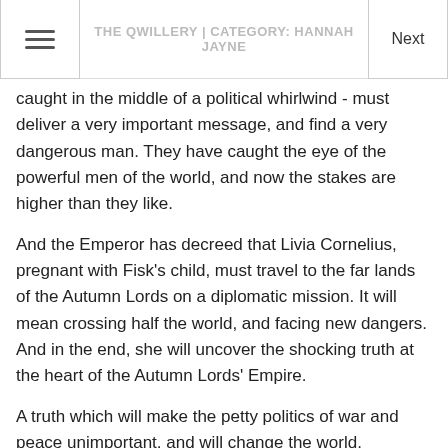THE QWILLERY | CATEGORY: HANNAH JAYNE
caught in the middle of a political whirlwind - must deliver a very important message, and find a very dangerous man. They have caught the eye of the powerful men of the world, and now the stakes are higher than they like.
And the Emperor has decreed that Livia Cornelius, pregnant with Fisk's child, must travel to the far lands of the Autumn Lords on a diplomatic mission. It will mean crossing half the world, and facing new dangers. And in the end, she will uncover the shocking truth at the heart of the Autumn Lords' Empire.
A truth which will make the petty politics of war and peace unimportant, and will change the world.
Amazon : Barnes and Noble : Book Depository : Books-A-Million : IndieBound
Google Play : iBooks : Kobo